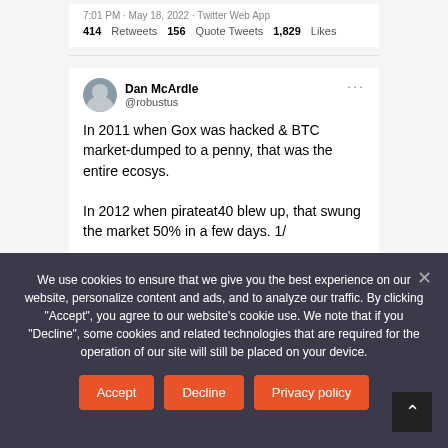7:01 PM · May 18, 2022 · Twitter Web App
414 Retweets  156 Quote Tweets  1,829 Likes
Dan McArdle @robustus
In 2011 when Gox was hacked & BTC market-dumped to a penny, that was the entire ecosys.

In 2012 when pirateat40 blew up, that swung the market 50% in a few days. 1/
5:55 AM · May 14, 2022 · Twitter for Android
3,254 Retweets  420 Quote Tweets  11.4K Likes
We use cookies to ensure that we give you the best experience on our website, personalize content and ads, and to analyze our traffic. By clicking "Accept", you agree to our website's cookie use. We note that if you "Decline", some cookies and related technologies that are required for the operation of our site will still be placed on your device.